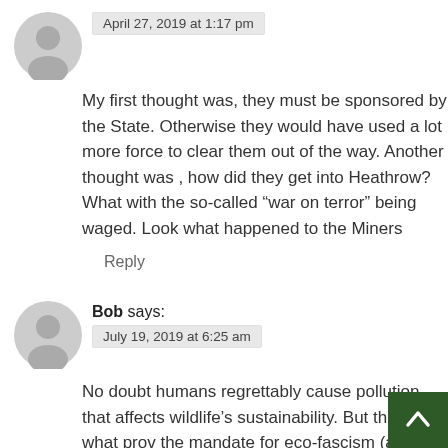April 27, 2019 at 1:17 pm
My first thought was, they must be sponsored by the State. Otherwise they would have used a lot more force to clear them out of the way. Another thought was , how did they get into Heathrow? What with the so-called “war on terror” being waged. Look what happened to the Miners
Reply
Bob says:
July 19, 2019 at 6:25 am
No doubt humans regrettably cause pollution that affects wildlife’s sustainability. But that isn’t what prov the mandate for eco-fascism (an apt description for the corrupt environmental